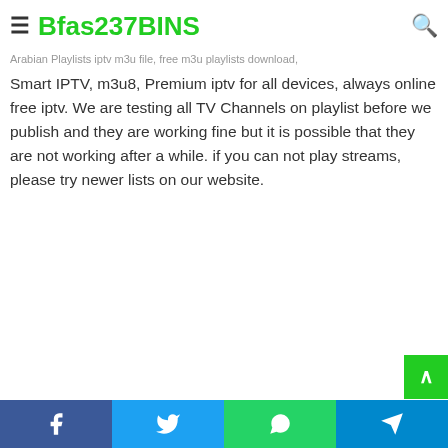≡ Bfas237BINS 🔍
Arabian Playlists iptv m3u file, free m3u playlists download, Smart IPTV, m3u8, Premium iptv for all devices, always online free iptv. We are testing all TV Channels on playlist before we publish and they are working fine but it is possible that they are not working after a while. if you can not play streams, please try newer lists on our website.